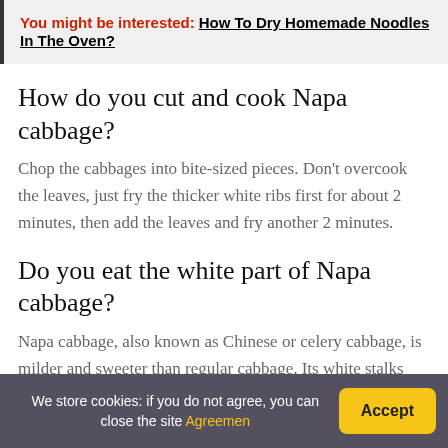You might be interested: How To Dry Homemade Noodles In The Oven?
How do you cut and cook Napa cabbage?
Chop the cabbages into bite-sized pieces. Don't overcook the leaves, just fry the thicker white ribs first for about 2 minutes, then add the leaves and fry another 2 minutes.
Do you eat the white part of Napa cabbage?
Napa cabbage, also known as Chinese or celery cabbage, is milder and sweeter than regular cabbage. Its white stalks and crinkly, pale
We store cookies: if you do not agree, you can close the site Agreemen